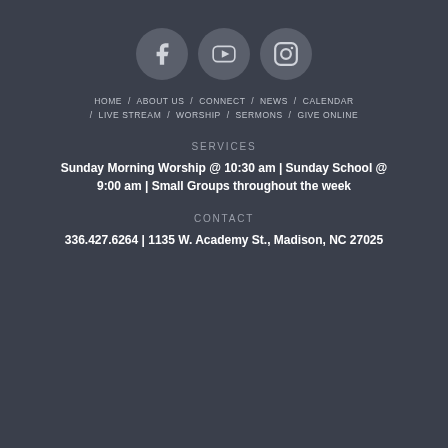[Figure (illustration): Three circular social media icon buttons: Facebook, YouTube, Instagram on a dark background]
HOME / ABOUT US / CONNECT / NEWS / CALENDAR / LIVE STREAM / WORSHIP / SERMONS / GIVE ONLINE
SERVICES
Sunday Morning Worship @ 10:30 am | Sunday School @ 9:00 am | Small Groups throughout the week
CONTACT
336.427.6264 | 1135 W. Academy St., Madison, NC 27025